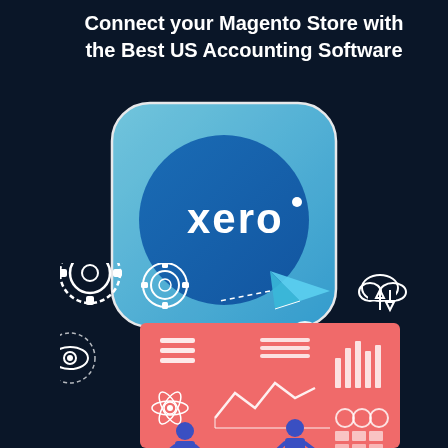Connect your Magento Store with the Best US Accounting Software
[Figure (logo): Xero accounting software logo — a rounded square with a light blue gradient background containing a darker blue circle with 'xero' text in white lowercase letters and a small dot/circle above the 'o']
[Figure (illustration): Infographic illustration on dark navy background showing various technology icons: gears/cogs, paper airplane, cloud with up/down arrows, and a salmon/coral colored dashboard panel with people, charts (line chart, bar chart), data visuals, and tech icons (atom, eye gear)]